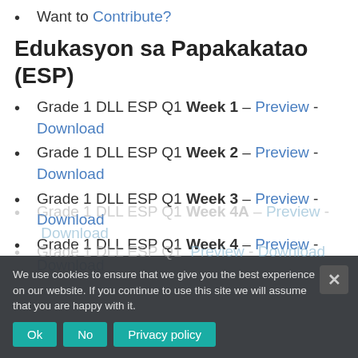Want to Contribute?
Edukasyon sa Papakakatao (ESP)
Grade 1 DLL ESP Q1 Week 1 – Preview - Download
Grade 1 DLL ESP Q1 Week 2 – Preview - Download
Grade 1 DLL ESP Q1 Week 3 – Preview - Download
Grade 1 DLL ESP Q1 Week 4 – Preview - Download
Grade 1 DLL ESP Q1 Week 4A – Preview - Download
Grade 1 DLL ESP Q1 Week [?] – Preview - Download
We use cookies to ensure that we give you the best experience on our website. If you continue to use this site we will assume that you are happy with it.